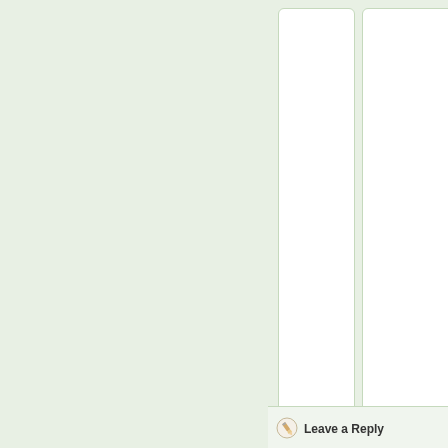[Figure (screenshot): Web page layout showing a light sage-green background on the left panel and two white card panels on the right side, with a 'Leave a Reply' section at the bottom right with a pencil icon.]
Leave a Reply